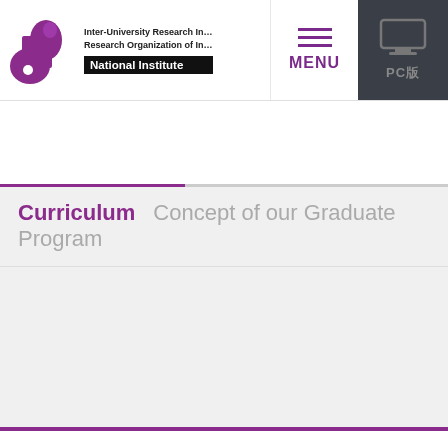[Figure (logo): Purple bean/key-shaped logo for Inter-University Research Institute Corporation, Research Organization of Information and Systems, National Institute]
Inter-University Research Institute Corporation Research Organization of Information and Systems National Institute
MENU
PC版
Curriculum   Concept of our Graduate Program